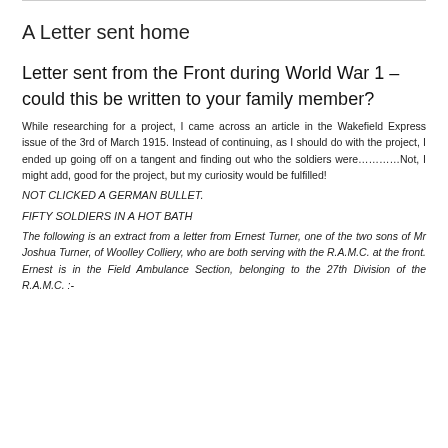A Letter sent home
Letter sent from the Front during World War 1 – could this be written to your family member?
While researching for a project, I came across an article in the Wakefield Express issue of the 3rd of March 1915. Instead of continuing, as I should do with the project, I ended up going off on a tangent and finding out who the soldiers were…………Not, I might add, good for the project, but my curiosity would be fulfilled!
NOT CLICKED A GERMAN BULLET.
FIFTY SOLDIERS IN A HOT BATH
The following is an extract from a letter from Ernest Turner, one of the two sons of Mr Joshua Turner, of Woolley Colliery, who are both serving with the R.A.M.C. at the front. Ernest is in the Field Ambulance Section, belonging to the 27th Division of the R.A.M.C. :-